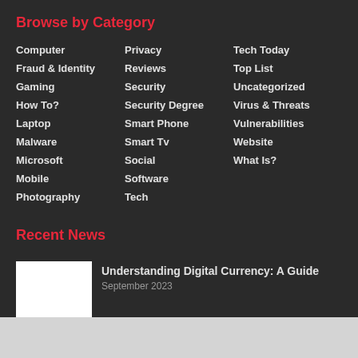Browse by Category
Computer
Fraud & Identity
Gaming
How To?
Laptop
Malware
Microsoft
Mobile
Photography
Privacy
Reviews
Security
Security Degree
Smart Phone
Smart Tv
Social
Software
Tech
Tech Today
Top List
Uncategorized
Virus & Threats
Vulnerabilities
Website
What Is?
Recent News
Understanding Digital Currency: A Guide